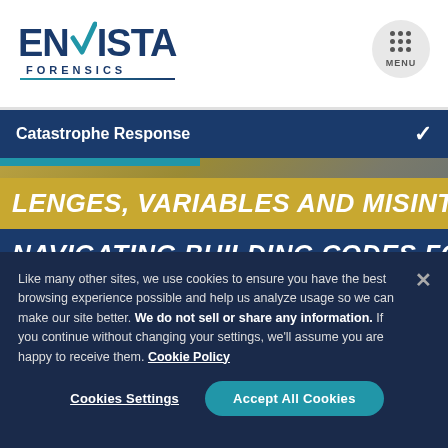[Figure (logo): Envista Forensics logo with blue text and teal checkmark]
Catastrophe Response
[Figure (photo): Hero banner showing partial text: LENGES, VARIABLES AND MISINTERPRETATIONS IN and NAVIGATING BUILDING CODES FOR STRUCTURAL R, overlaid on a construction/structural background image]
Like many other sites, we use cookies to ensure you have the best browsing experience possible and help us analyze usage so we can make our site better. We do not sell or share any information. If you continue without changing your settings, we'll assume you are happy to receive them. Cookie Policy
Cookies Settings
Accept All Cookies